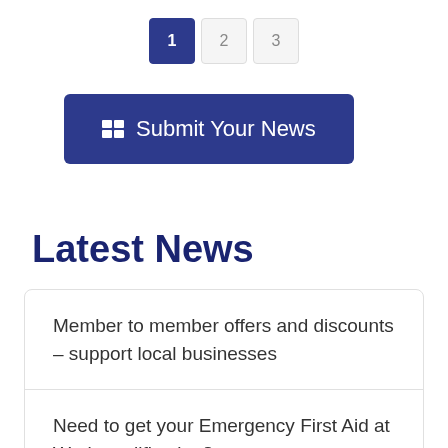1  2  3
Submit Your News
Latest News
Member to member offers and discounts – support local businesses
Need to get your Emergency First Aid at Work qualification?